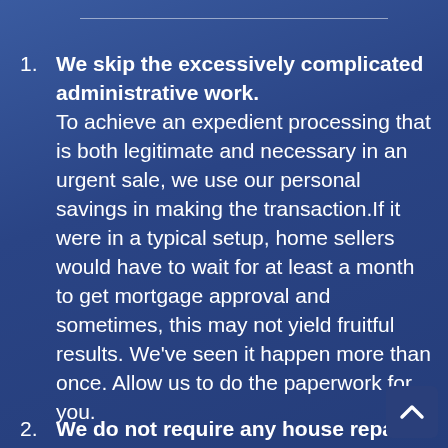We skip the excessively complicated administrative work. To achieve an expedient processing that is both legitimate and necessary in an urgent sale, we use our personal savings in making the transaction.If it were in a typical setup, home sellers would have to wait for at least a month to get mortgage approval and sometimes, this may not yield fruitful results. We've seen it happen more than once. Allow us to do the paperwork for you.
We do not require any house repairs